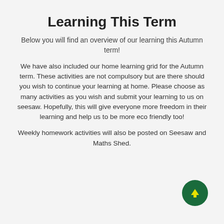Learning This Term
Below you will find an overview of our learning this Autumn term!
We have also included our home learning grid for the Autumn term. These activities are not compulsory but are there should you wish to continue your learning at home. Please choose as many activities as you wish and submit your learning to us on seesaw. Hopefully, this will give everyone more freedom in their learning and help us to be more eco friendly too!
Weekly homework activities will also be posted on Seesaw and Maths Shed.
[Figure (illustration): Dark green circular button with a yellow upward-pointing arrow icon]